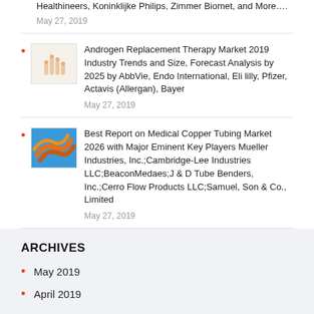Healthineers, Koninklijke Philips, Zimmer Biomet, and More….
May 27, 2019
Androgen Replacement Therapy Market 2019 Industry Trends and Size, Forecast Analysis by 2025 by AbbVie, Endo International, Eli lilly, Pfizer, Actavis (Allergan), Bayer
May 27, 2019
Best Report on Medical Copper Tubing Market 2026 with Major Eminent Key Players Mueller Industries, Inc.;Cambridge-Lee Industries LLC;BeaconMedaes;J & D Tube Benders, Inc.;Cerro Flow Products LLC;Samuel, Son & Co., Limited
May 27, 2019
ARCHIVES
May 2019
April 2019